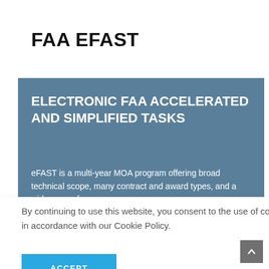FAA EFAST
ELECTRONIC FAA ACCELERATED AND SIMPLIFIED TASKS
eFAST is a multi-year MOA program offering broad technical scope, many contract and award types, and a wide array of [... the FAA's ...small ...icipate in ...he
By continuing to use this website, you consent to the use of cookies in accordance with our Cookie Policy.
ACCEPT
CSD)